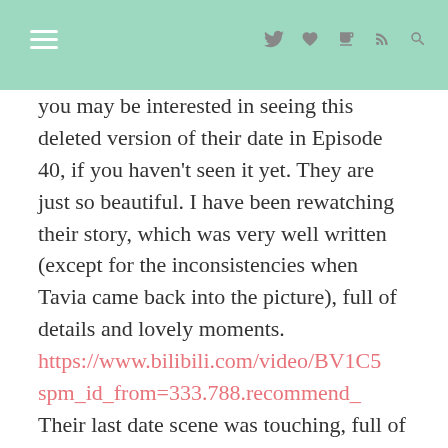≡  🐦 ♥ t ))) 🔍
you may be interested in seeing this deleted version of their date in Episode 40, if you haven't seen it yet. They are just so beautiful. I have been rewatching their story, which was very well written (except for the inconsistencies when Tavia came back into the picture), full of details and lovely moments.
https://www.bilibili.com/video/BV1C5spm_id_from=333.788.recommend_
Their last date scene was touching, full of humorous and loving memories. I always thought Yuzhi should have laid next to him to watch the stars, and defiantly decided to imagine it myself. But